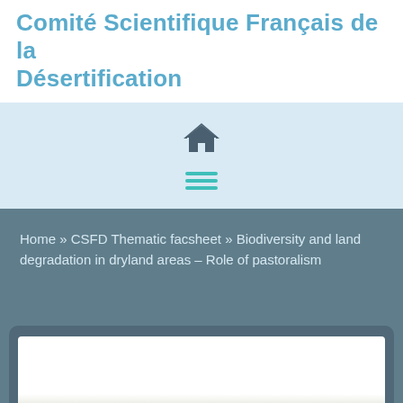Comité Scientifique Français de la Désertification
[Figure (screenshot): Navigation bar with home icon and hamburger menu icon on light blue background]
Home » CSFD Thematic facsheet » Biodiversity and land degradation in dryland areas – Role of pastoralism
[Figure (screenshot): White card panel with blue-grey background below, partially visible content area]